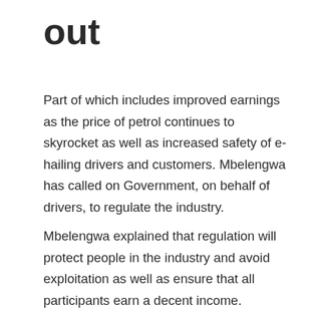out
Part of which includes improved earnings as the price of petrol continues to skyrocket as well as increased safety of e-hailing drivers and customers. Mbelengwa has called on Government, on behalf of drivers, to regulate the industry.
Mbelengwa explained that regulation will protect people in the industry and avoid exploitation as well as ensure that all participants earn a decent income.
“We are saying to Government, regulate this